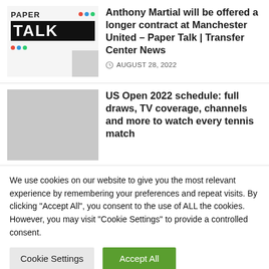[Figure (logo): Paper Talk logo with black and white design and colored dots]
Anthony Martial will be offered a longer contract at Manchester United – Paper Talk | Transfer Center News
AUGUST 28, 2022
[Figure (photo): Gray placeholder image for second article]
US Open 2022 schedule: full draws, TV coverage, channels and more to watch every tennis match
We use cookies on our website to give you the most relevant experience by remembering your preferences and repeat visits. By clicking "Accept All", you consent to the use of ALL the cookies. However, you may visit "Cookie Settings" to provide a controlled consent.